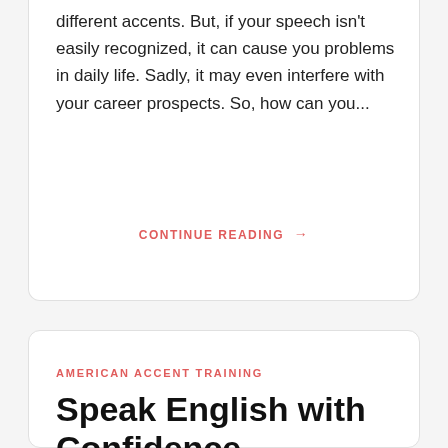different accents. But, if your speech isn't easily recognized, it can cause you problems in daily life. Sadly, it may even interfere with your career prospects. So, how can you...
CONTINUE READING →
AMERICAN ACCENT TRAINING
Speak English with Confidence